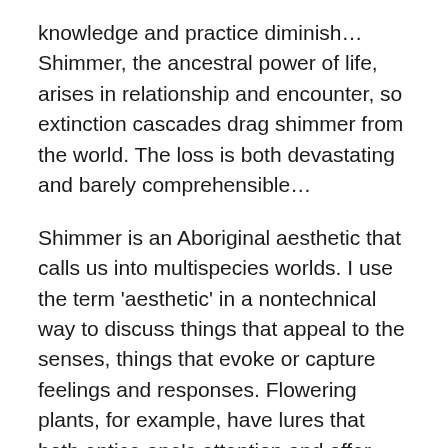knowledge and practice diminish…Shimmer, the ancestral power of life, arises in relationship and encounter, so extinction cascades drag shimmer from the world. The loss is both devastating and barely comprehensible…
Shimmer is an Aboriginal aesthetic that calls us into multispecies worlds. I use the term 'aesthetic' in a nontechnical way to discuss things that appeal to the senses, things that evoke or capture feelings and responses. Flowering plants, for example, have lures that both entice one's attention and offer rewards.
In his classic essay 'From Dull to Brilliant,' anthropologist Howard Morphy discusses art in the Arnhem Land region of North Australia. His focus is on the Yolngu term bir'yun, which translates as 'brilliant' or 'shimmering.' When a Yolngu painting has just its rough shape, the artists